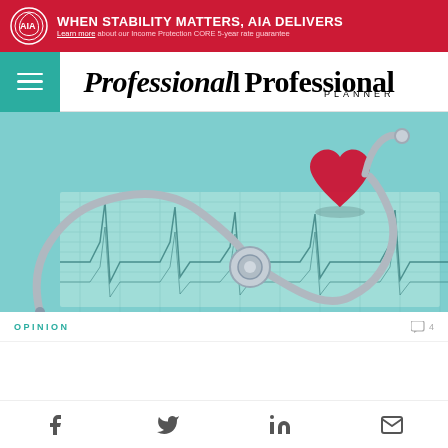[Figure (infographic): AIA Insurance banner advertisement: red background with AIA logo, bold white text 'WHEN STABILITY MATTERS, AIA DELIVERS', and smaller text 'Learn more about our Income Protection CORE 5-year rate guarantee']
Professional Planner
[Figure (photo): Medical photo showing a stethoscope and a red heart shape placed on an ECG/EKG paper printout, with a teal/light blue background]
OPINION
[Figure (infographic): Social share bar with icons for Facebook, Twitter, LinkedIn, and Email]
f  t  in  mail icons — social sharing bar